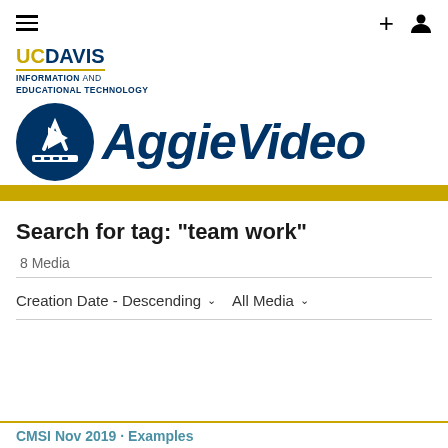[Figure (logo): UCD Davis Information and Educational Technology logo with AggieVideo branding — circular blue icon with play button and film strip, bold navy italic AggieVideo text]
Search for tag: "team work"
8 Media
Creation Date - Descending   ▾   All Media   ▾
CMSI Nov 2019 Examples